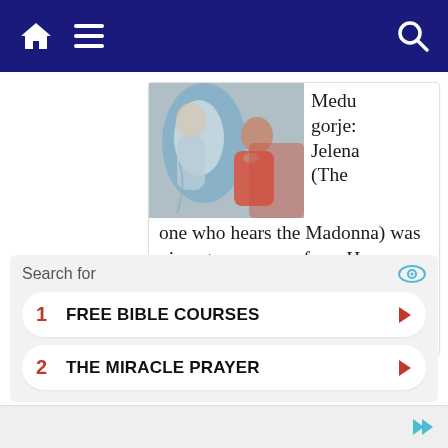Navigation bar with home, menu, and search icons
[Figure (photo): Two women in a devotional/prayer scene, one appears as a spiritual figure]
Medugorje: Jelena (The one who hears the Madonna) was given two prayers from Heaven by Our Lady to be recited each day. Read then today for healing.
August 23, 2019
Search for
1  FREE BIBLE COURSES
2  THE MIRACLE PRAYER